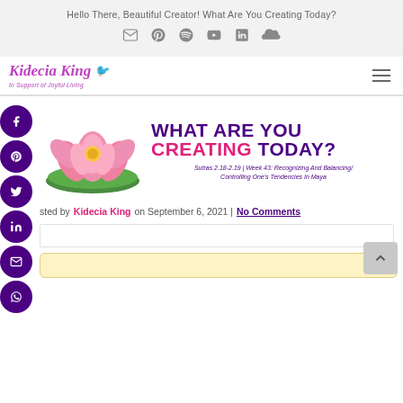Hello There, Beautiful Creator! What Are You Creating Today?
[Figure (logo): Kidecia King logo with bird icon and tagline 'In Support of Joyful Living']
[Figure (illustration): Pink lotus flower on green lily pad with text 'WHAT ARE YOU CREATING TODAY?' and subtitle 'Sutras 2.18-2.19 | Week 43: Recognizing And Balancing/Controlling One's Tendencies In Maya']
posted by Kidecia King on September 6, 2021 | No Comments